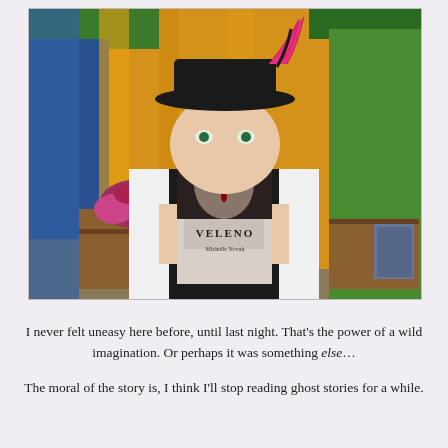[Figure (photo): A woman wearing a black hat with pink and black feathers holds up a book titled 'VELENO by Michelle Novak' covering the lower half of her face. She is dressed in a Renaissance-style costume with a white blouse and black vest. The background shows a colorful market tent with yellow, green, and blue fabric panels, flowers, wooden shelves with books, and green trees outside.]
I never felt uneasy here before, until last night. That's the power of a wild imagination. Or perhaps it was something else… The moral of the story is, I think I'll stop reading ghost stories for a while.